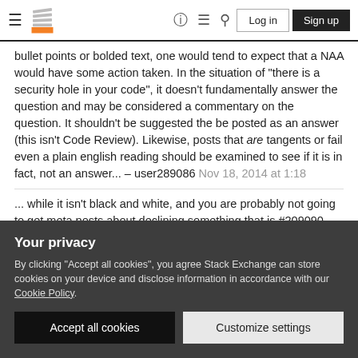Stack Exchange — hamburger menu, logo, help, chat, search, Log in, Sign up
bullet points or bolded text, one would tend to expect that a NAA would have some action taken. In the situation of "there is a security hole in your code", it doesn't fundamentally answer the question and may be considered a commentary on the question. It shouldn't be suggested the be posted as an answer (this isn't Code Review). Likewise, posts that are tangents or fail even a plain english reading should be examined to see if it is in fact, not an answer... – user289086 Nov 18, 2014 at 1:18
... while it isn't black and white, and you are probably not going to get meta posts about declining something that is #209090. However, strictly adhering to #000000
Your privacy
By clicking "Accept all cookies", you agree Stack Exchange can store cookies on your device and disclose information in accordance with our Cookie Policy.
Accept all cookies
Customize settings